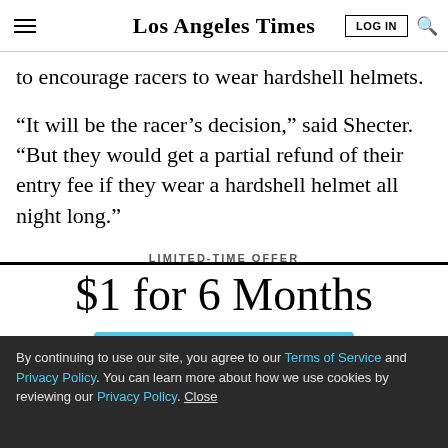Los Angeles Times
to encourage racers to wear hardshell helmets.
“It will be the racer’s decision,” said Shecter. “But they would get a partial refund of their entry fee if they wear a hardshell helmet all night long.”
LIMITED-TIME OFFER
$1 for 6 Months
SUBSCRIBE NOW
By continuing to use our site, you agree to our Terms of Service and Privacy Policy. You can learn more about how we use cookies by reviewing our Privacy Policy. Close